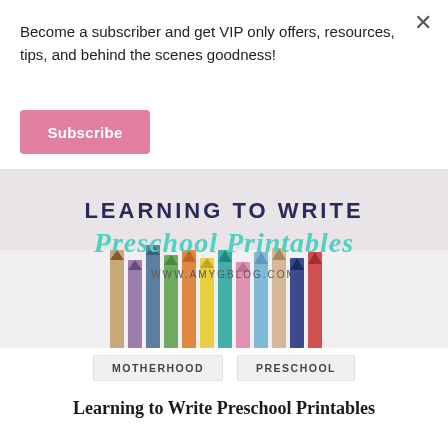Become a subscriber and get VIP only offers, resources, tips, and behind the scenes goodness!
Subscribe
[Figure (illustration): Promotional image for Learning to Write Preschool Printables showing colored pencils arranged together with text overlay reading 'LEARNING TO WRITE Preschool Printables www.amygblog.com']
MOTHERHOOD
PRESCHOOL
Learning to Write Preschool Printables